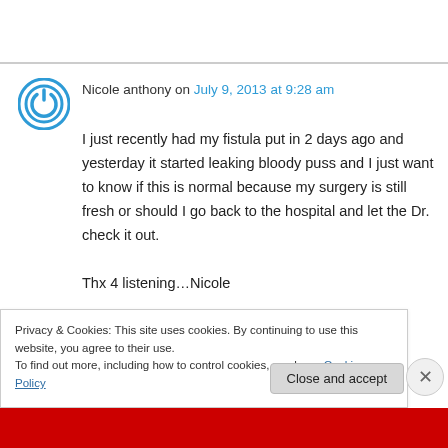Nicole anthony on July 9, 2013 at 9:28 am
I just recently had my fistula put in 2 days ago and yesterday it started leaking bloody puss and I just want to know if this is normal because my surgery is still fresh or should I go back to the hospital and let the Dr. check it out.

Thx 4 listening…Nicole
Privacy & Cookies: This site uses cookies. By continuing to use this website, you agree to their use.
To find out more, including how to control cookies, see here: Cookie Policy